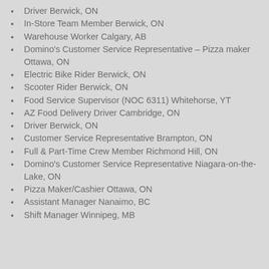Driver Berwick, ON
In-Store Team Member Berwick, ON
Warehouse Worker Calgary, AB
Domino's Customer Service Representative – Pizza maker Ottawa, ON
Electric Bike Rider Berwick, ON
Scooter Rider Berwick, ON
Food Service Supervisor (NOC 6311) Whitehorse, YT
AZ Food Delivery Driver Cambridge, ON
Driver Berwick, ON
Customer Service Representative Brampton, ON
Full & Part-Time Crew Member Richmond Hill, ON
Domino's Customer Service Representative Niagara-on-the-Lake, ON
Pizza Maker/Cashier Ottawa, ON
Assistant Manager Nanaimo, BC
Shift Manager Winnipeg, MB